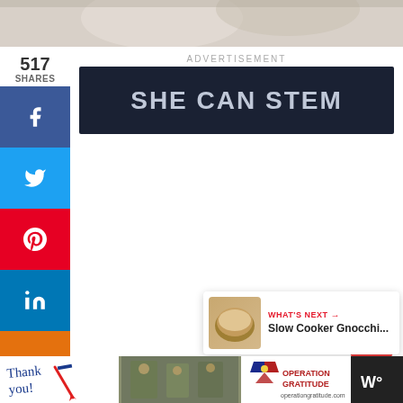[Figure (photo): Top portion of a food photo, partially cropped at top]
517
SHARES
[Figure (screenshot): Social sharing sidebar with Facebook, Twitter, Pinterest, LinkedIn, Yummly, Flipboard, Mix, and Email buttons]
ADVERTISEMENT
[Figure (screenshot): SHE CAN STEM advertisement banner with dark navy background and bold text]
[Figure (screenshot): Heart/like button showing 530 likes and share button]
[Figure (screenshot): WHAT'S NEXT panel showing Slow Cooker Gnocchi... with food thumbnail]
[Figure (screenshot): Bottom advertisement bar: Operation Gratitude thank you banner]